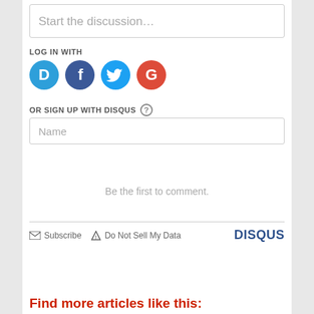Start the discussion…
LOG IN WITH
[Figure (infographic): Four social login icon circles: Disqus (D, blue), Facebook (f, dark blue), Twitter (bird, light blue), Google (G, red)]
OR SIGN UP WITH DISQUS ?
Name
Be the first to comment.
Subscribe   Do Not Sell My Data   DISQUS
Find more articles like this: